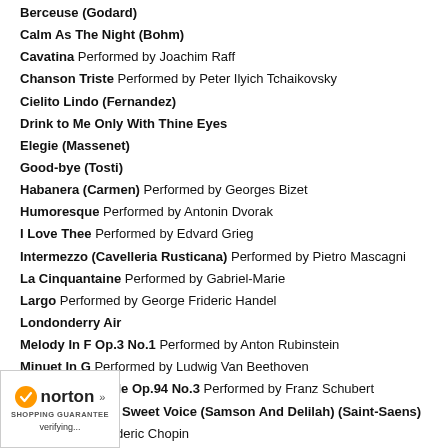Berceuse (Godard)
Calm As The Night (Bohm)
Cavatina  Performed by Joachim Raff
Chanson Triste  Performed by Peter Ilyich Tchaikovsky
Cielito Lindo (Fernandez)
Drink to Me Only With Thine Eyes
Elegie (Massenet)
Good-bye (Tosti)
Habanera (Carmen)  Performed by Georges Bizet
Humoresque  Performed by Antonin Dvorak
I Love Thee  Performed by Edvard Grieg
Intermezzo (Cavelleria Rusticana)   Performed by Pietro Mascagni
La Cinquantaine  Performed by Gabriel-Marie
Largo  Performed by George Frideric Handel
Londonderry Air
Melody In F Op.3 No.1   Performed by Anton Rubinstein
Minuet In G  Performed by Ludwig Van Beethoven
Moment Musicale Op.94 No.3   Performed by Franz Schubert
My Herat At Thy Sweet Voice (Samson And Delilah) (Saint-Saens)
...rformed by Frederic Chopin
...e Lonely Heart (Tschaikowksy)
...Song Op.24 No.2  Performed by Felix Bartholdy
[Figure (logo): Norton Shopping Guarantee badge with checkmark and verifying text]